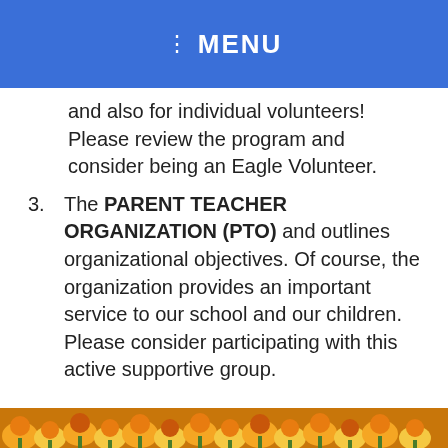MENU
and also for individual volunteers!  Please review the program and consider being an Eagle Volunteer.
3. The PARENT TEACHER ORGANIZATION (PTO) and outlines organizational objectives. Of course, the organization provides an important service to our school and our children.  Please consider participating with this active supportive group.
[Figure (photo): Decorative strip of orange and yellow flowers at the bottom of the page]